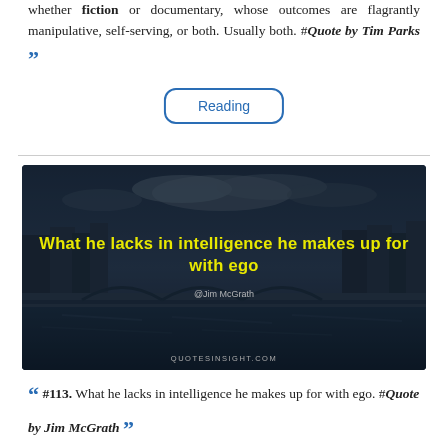whether fiction or documentary, whose outcomes are flagrantly manipulative, self-serving, or both. Usually both. #Quote by Tim Parks ""
Reading
[Figure (illustration): Dark atmospheric photo of a bridge over a river at night with yellow text overlay reading 'What he lacks in intelligence he makes up for with ego' and '@Jim McGrath' attribution, with QUOTESINSIGHT.COM at bottom]
#113. What he lacks in intelligence he makes up for with ego. #Quote by Jim McGrath ""